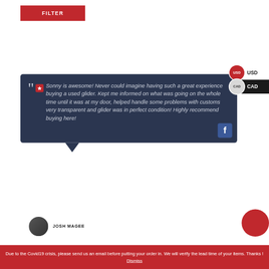FILTER
[Figure (screenshot): USD/CAD currency switcher with two rows: USD row in white background with red circle badge, CAD row in dark background]
" * Sonny is awesome! Never could imagine having such a great experience buying a used glider. Kept me informed on what was going on the whole time until it was at my door, helped handle some problems with customs very transparent and glider was in perfect condition! Highly recommend buying here!
JOSH MAGEE
Due to the Covid19 crisis, please send us an email before putting your order in. We will verify the lead time of your items. Thanks ! Dismiss